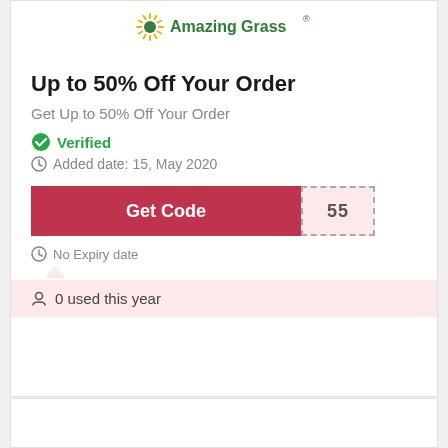[Figure (logo): Amazing Grass logo with sunburst icon and green text]
Up to 50% Off Your Order
Get Up to 50% Off Your Order
✅ Verified
🕐 Added date: 15, May 2020
Get Code | 55
🕐 No Expiry date
👤 0 used this year